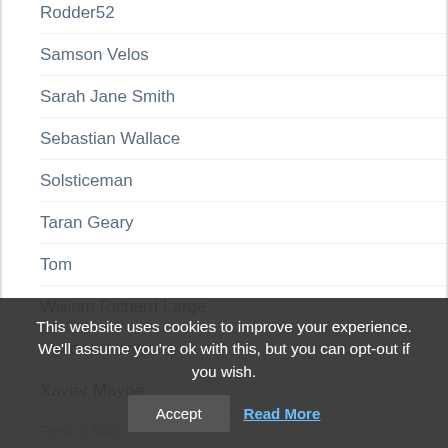Rodder52
Samson Velos
Sarah Jane Smith
Sebastian Wallace
Solsticeman
Taran Geary
Tom
William Richard Large
Xander Harris
Xavier Mayne
Rest of Nifty…
This website uses cookies to improve your experience. We'll assume you're ok with this, but you can opt-out if you wish.